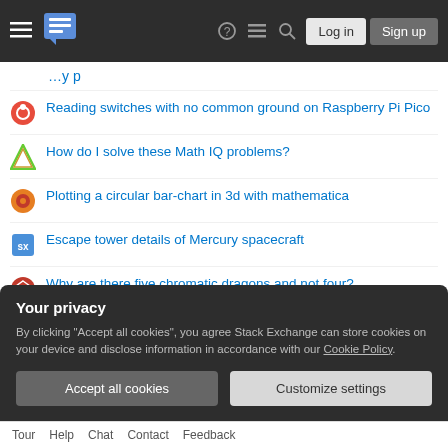Stack Exchange navigation header with Log in and Sign up buttons
Reading switches with no common ground on Raspberry Pi Pico
How do I solve these Math IQ problems?
Plotting a circular bar-chart in 3d with mathematica
Escape tower details of Mercury spacecraft
Why are there five chromatic dragons and not four?
Blank 2.2 KB sized PNG costs 2.1 MB in Unity? What does this represent? What to do?
What is that Linux command that gives you a tight little system summary that includes an ASCII icon image of your OS right in the terminal?
Your privacy
By clicking "Accept all cookies", you agree Stack Exchange can store cookies on your device and disclose information in accordance with our Cookie Policy.
Tour  Help  Chat  Contact  Feedback